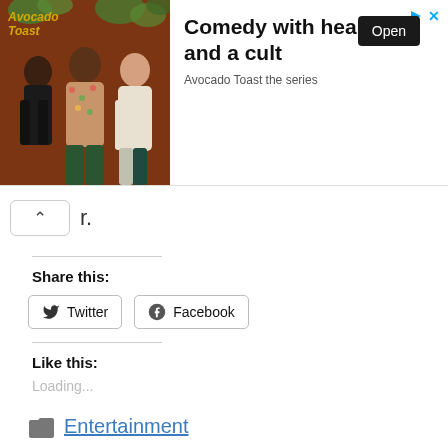[Figure (screenshot): Advertisement banner for 'Avocado Toast the series' showing three people on a brown background with text 'Comedy with heart and a cult' and an 'Open' button]
r.
Share this:
Twitter
Facebook
Like this:
Loading...
Entertainment